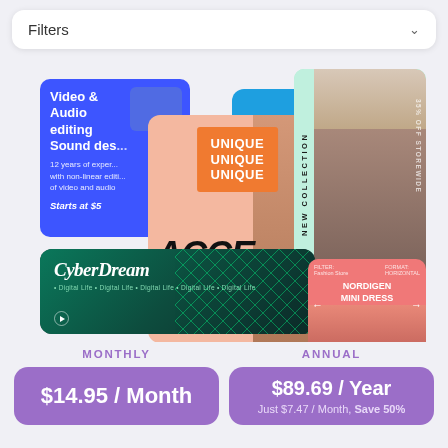Filters
[Figure (screenshot): Collage of template cards including a blue video editing card, pink accessories fashion card, a cyan CyberDream card, a mint new collection fashion card, and a small pink promotional card]
MONTHLY
ANNUAL
$14.95 / Month
$89.69 / Year
Just $7.47 / Month, Save 50%